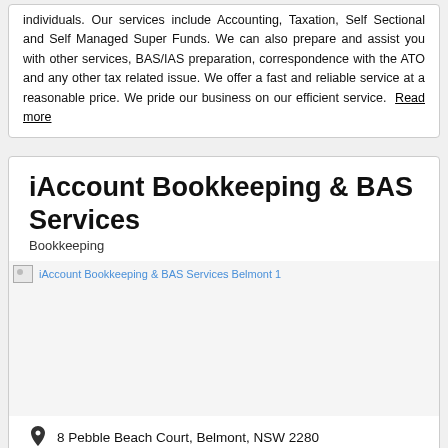individuals. Our services include Accounting, Taxation, Self Sectional and Self Managed Super Funds. We can also prepare and assist you with other services, BAS/IAS preparation, correspondence with the ATO and any other tax related issue. We offer a fast and reliable service at a reasonable price. We pride our business on our efficient service. Read more
iAccount Bookkeeping & BAS Services
Bookkeeping
[Figure (photo): iAccount Bookkeeping & BAS Services Belmont 1 - broken image placeholder]
8 Pebble Beach Court, Belmont, NSW 2280
5-10 km from Wangi Wangi
Business can travel to you